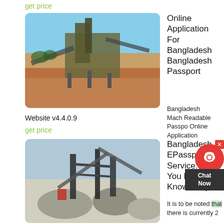get price
[Figure (photo): Industrial mining/crushing equipment on red dirt ground with blue sky background]
Online Application For Bangladesh Bangladesh Passport
Bangladesh Mach Readable Passpo Online Application
Website v4.4.0.9
get price
[Figure (photo): Large industrial crushing/screening plant with conveyors and machinery on gravel ground]
Bangladesh EPassport Service: All You Need To Know Daily
It is to be noted that there is currently 2